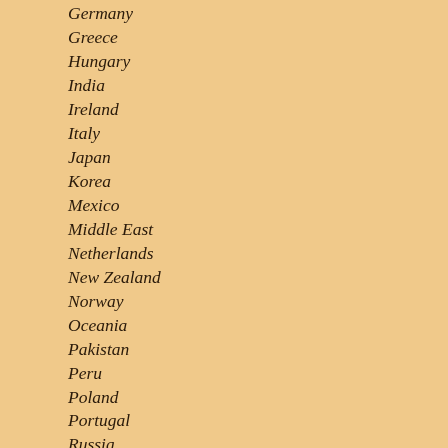Germany
Greece
Hungary
India
Ireland
Italy
Japan
Korea
Mexico
Middle East
Netherlands
New Zealand
Norway
Oceania
Pakistan
Peru
Poland
Portugal
Russia
Scotland
South America (General)
Southeast Asia
Spain
Sweden